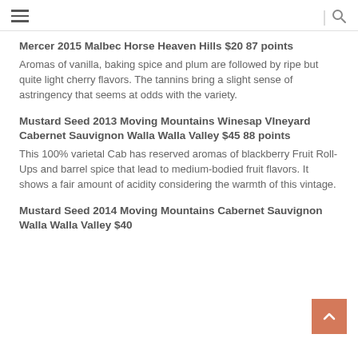≡ | 🔍
Mercer 2015 Malbec Horse Heaven Hills $20 87 points
Aromas of vanilla, baking spice and plum are followed by ripe but quite light cherry flavors. The tannins bring a slight sense of astringency that seems at odds with the variety.
Mustard Seed 2013 Moving Mountains Winesap VIneyard Cabernet Sauvignon Walla Walla Valley $45 88 points
This 100% varietal Cab has reserved aromas of blackberry Fruit Roll-Ups and barrel spice that lead to medium-bodied fruit flavors. It shows a fair amount of acidity considering the warmth of this vintage.
Mustard Seed 2014 Moving Mountains Cabernet Sauvignon Walla Walla Valley $40